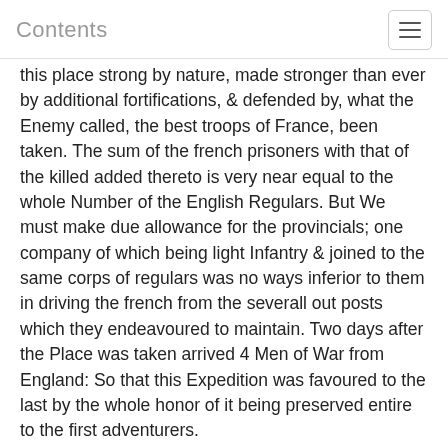Contents
this place strong by nature, made stronger than ever by additional fortifications, & defended by, what the Enemy called, the best troops of France, been taken. The sum of the french prisoners with that of the killed added thereto is very near equal to the whole Number of the English Regulars. But We must make due allowance for the provincials; one company of which being light Infantry & joined to the same corps of regulars was no ways inferior to them in driving the french from the severall out posts which they endeavoured to maintain. Two days after the Place was taken arrived 4 Men of War from England: So that this Expedition was favoured to the last by the whole honor of it being preserved entire to the first adventurers.